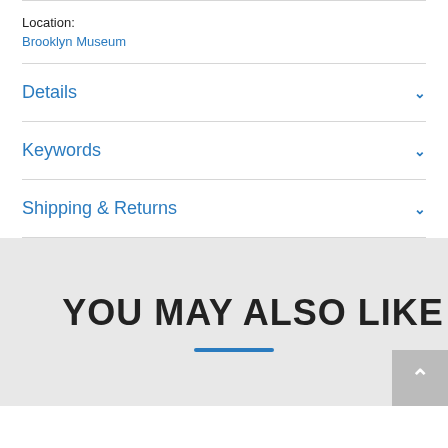Location:
Brooklyn Museum
Details
Keywords
Shipping & Returns
YOU MAY ALSO LIKE